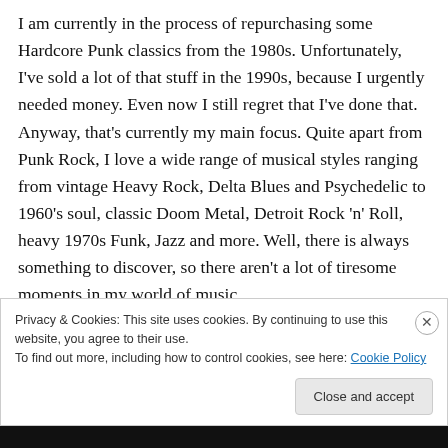I am currently in the process of repurchasing some Hardcore Punk classics from the 1980s. Unfortunately, I've sold a lot of that stuff in the 1990s, because I urgently needed money. Even now I still regret that I've done that. Anyway, that's currently my main focus. Quite apart from Punk Rock, I love a wide range of musical styles ranging from vintage Heavy Rock, Delta Blues and Psychedelic to 1960's soul, classic Doom Metal, Detroit Rock 'n' Roll, heavy 1970s Funk, Jazz and more. Well, there is always something to discover, so there aren't a lot of tiresome moments in my world of music.
Privacy & Cookies: This site uses cookies. By continuing to use this website, you agree to their use.
To find out more, including how to control cookies, see here: Cookie Policy
Close and accept